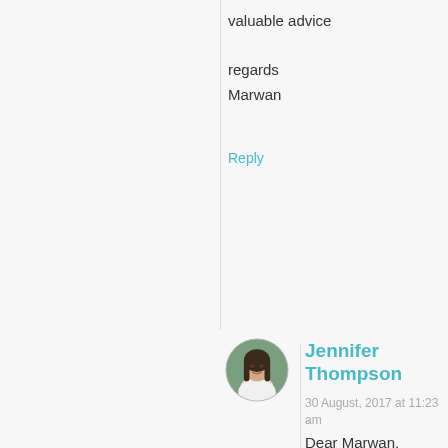valuable advice
regards
Marwan
Reply
[Figure (photo): Circular avatar photo of Jennifer Thompson, a woman with dark hair]
Jennifer Thompson
30 August, 2017 at 11:23 am
Dear Marwan,

If you are taking a recommendation by Andreas Moritz, then you should also be advised by him on how much